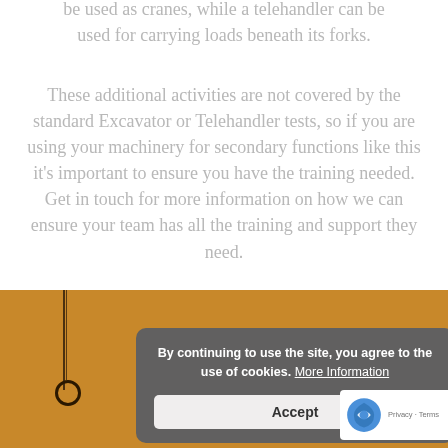be used as cranes, while a telehandler can be used for carrying loads beneath its forks.
These additional activities are not covered by the standard Excavator or Telehandler tests, so if you are using your machinery for secondary functions like this it's important to ensure you have the training needed. Get in touch for more information on how we can ensure your team has all the training and support they need.
By continuing to use the site, you agree to the use of cookies. More Information
Accept
[Figure (photo): Bottom portion of page showing an orange/amber background with a crane hook and cable on the left side, and a reCAPTCHA badge on the bottom right.]